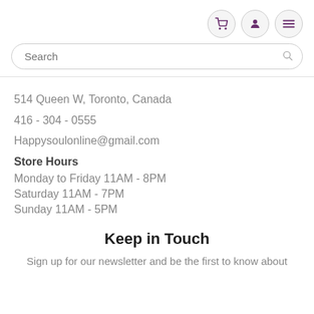Navigation icons: cart, user, menu
Search
514 Queen W, Toronto, Canada
416 - 304 - 0555
Happysoulonline@gmail.com
Store Hours
Monday to Friday 11AM - 8PM
Saturday 11AM - 7PM
Sunday 11AM - 5PM
Keep in Touch
Sign up for our newsletter and be the first to know about